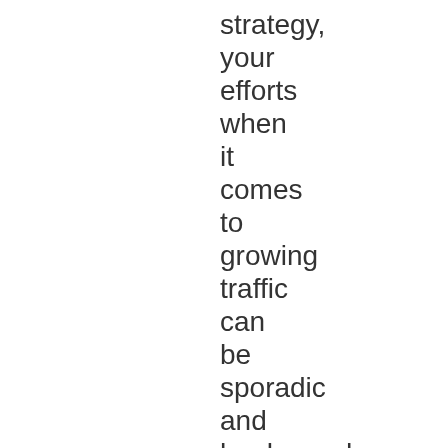strategy, your efforts when it comes to growing traffic can be sporadic and haphazard.

Great internet marketing